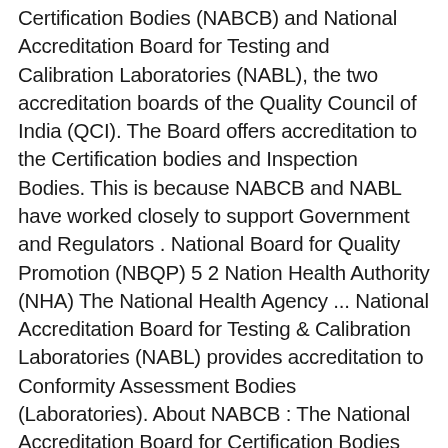Certification Bodies (NABCB) and National Accreditation Board for Testing and Calibration Laboratories (NABL), the two accreditation boards of the Quality Council of India (QCI). The Board offers accreditation to the Certification bodies and Inspection Bodies. This is because NABCB and NABL have worked closely to support Government and Regulators . National Board for Quality Promotion (NBQP) 5 2 Nation Health Authority (NHA) The National Health Agency ... National Accreditation Board for Testing & Calibration Laboratories (NABL) provides accreditation to Conformity Assessment Bodies (Laboratories). About NABCB : The National Accreditation Board for Certification Bodies provides accreditation to Certification and Inspection Bodies based on assessment of their competence as per the Board's criteria and in accordance with International Standards and Guidelines. The National Accreditation Board for Certification Body (NABCB) has granted accreditation to the National Productivity Council (NPC), which carries out inspections/audits for statutory bodies like WDRA and FSSAI. The standard includes requirements for